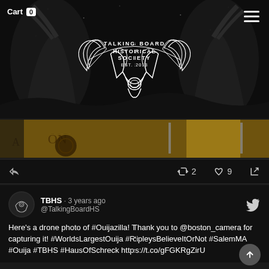[Figure (logo): Talking Board Historical Society logo with planchette and robed figures on dark background, EST. 2013]
[Figure (photo): Partial image of an ouija board with wooden tokens on yellow/tan background]
2   9
TBHS · 3 years ago
@TalkingBoardHS
Here's a drone photo of #Ouijazilla! Thank you to @boston_camera for capturing it! #WorldsLargestOuija #RipleysBelieveItOrNot #SalemMA #Ouija #TBHS #HausOfSchreck https://t.co/gFGKRgZirU